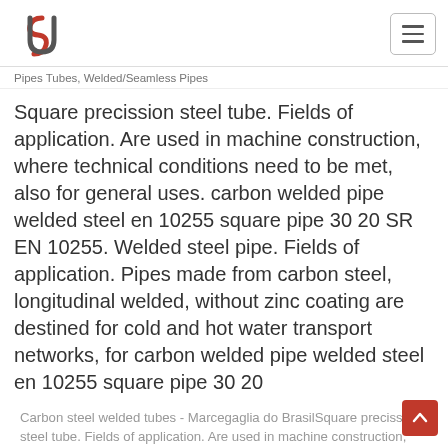Pipes Tubes, Welded/Seamless Pipes
Square precission steel tube. Fields of application. Are used in machine construction, where technical conditions need to be met, also for general uses. carbon welded pipe welded steel en 10255 square pipe 30 20 SR EN 10255. Welded steel pipe. Fields of application. Pipes made from carbon steel, longitudinal welded, without zinc coating are destined for cold and hot water transport networks, for carbon welded pipe welded steel en 10255 square pipe 30 20
Carbon steel welded tubes - Marcegaglia do BrasilSquare precission steel tube. Fields of application. Are used in machine construction, where technical conditions need to be met, also for general uses. carbon welded pipe welded steel en 10255 square pipe 30 20 SR EN 10255. Welded steel pipe. Fields of application. Pipes made from carbon steel, longitudinal welded, without zinc coating are destined for cold and hot water...